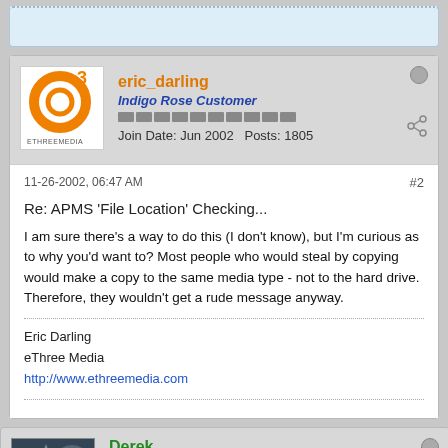(partial previous post — top strip)
eric_darling
Indigo Rose Customer
Join Date: Jun 2002   Posts: 1805
11-26-2002, 06:47 AM
#2

Re: APMS 'File Location' Checking...

I am sure there's a way to do this (I don't know), but I'm curious as to why you'd want to? Most people who would steal by copying would make a copy to the same media type - not to the hard drive. Therefore, they wouldn't get a rude message anyway.

Eric Darling
eThree Media
http://www.ethreemedia.com
Derek
Indigo Rose Customer